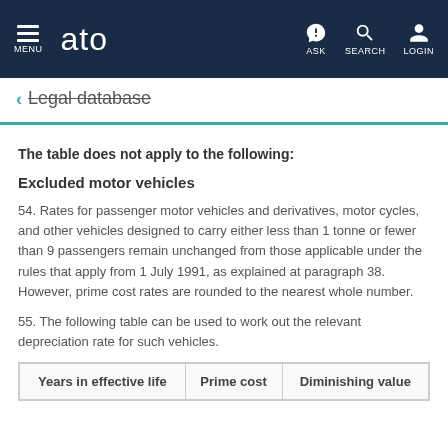ato — MENU | ASK | SEARCH | LOGIN
← Legal database
The table does not apply to the following:
Excluded motor vehicles
54. Rates for passenger motor vehicles and derivatives, motor cycles, and other vehicles designed to carry either less than 1 tonne or fewer than 9 passengers remain unchanged from those applicable under the rules that apply from 1 July 1991, as explained at paragraph 38. However, prime cost rates are rounded to the nearest whole number.
55. The following table can be used to work out the relevant depreciation rate for such vehicles.
| Years in effective life | Prime cost | Diminishing value |
| --- | --- | --- |